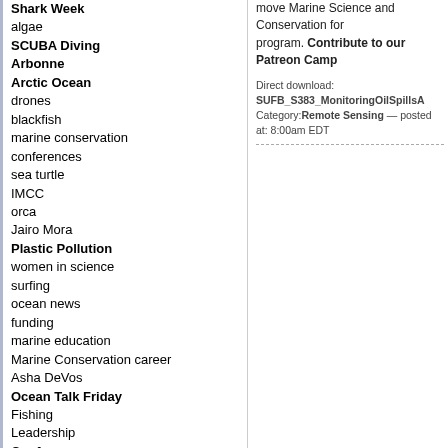Shark Week
algae
SCUBA Diving
Arbonne
Arctic Ocean
drones
blackfish
marine conservation
conferences
sea turtle
IMCC
orca
Jairo Mora
Plastic Pollution
women in science
surfing
ocean news
funding
marine education
Marine Conservation career
Asha DeVos
Ocean Talk Friday
Fishing
Leadership
Conferences
seagrass
science debate
antarctica
marine science
management
Conservation
marine biology jobs
politics
move Marine Science and Conservation forward as a program. Contribute to our Patreon Camp
Direct download: SUFB_S383_MonitoringOilSpillsA
Category: Remote Sensing — posted at: 8:00am EDT